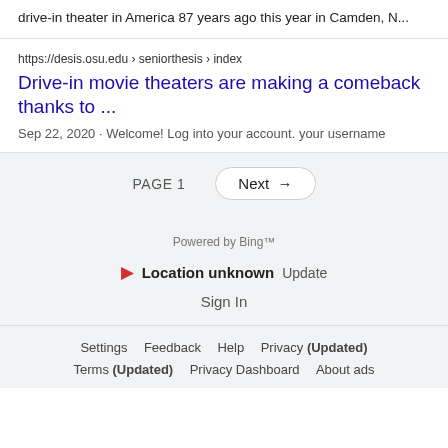drive-in theater in America 87 years ago this year in Camden, N...
https://desis.osu.edu › seniorthesis › index
Drive-in movie theaters are making a comeback thanks to ...
Sep 22, 2020 · Welcome! Log into your account. your username
PAGE 1  Next →
Powered by Bing™
Location unknown  Update
Sign In
Settings  Feedback  Help  Privacy (Updated)
Terms (Updated)  Privacy Dashboard  About ads